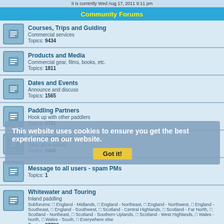It is currently Wed Aug 17, 2011 9:11 pm
Community Forums
Courses, Trips and Guiding
Commercial services
Topics: 9434
Products and Media
Commercial gear, films, books, etc.
Topics: 1811
Dates and Events
Announce and discuss
Topics: 1565
Paddling Partners
Hook up with other paddlers
Topics: 2781
Lost and Found
Gear gone astray ...
Topics: 2446
Message to all users - spam PMs
Topics: 1
Whitewater and Touring
Inland paddling
Subforums: England - Midlands, England - Northeast, England - Northwest, England - Southeast, England - Southwest, Scotland - Central Highlands, Scotland - Far North, Scotland - Northeast, Scotland - Southern Uplands, Scotland - West Highlands, Wales - North, Wales - South, Everywhere else
Topics: 37739
Canoeing
One blade only
Topics: 1478
This website uses cookies to ensure you get the best experience on our website. Got it!